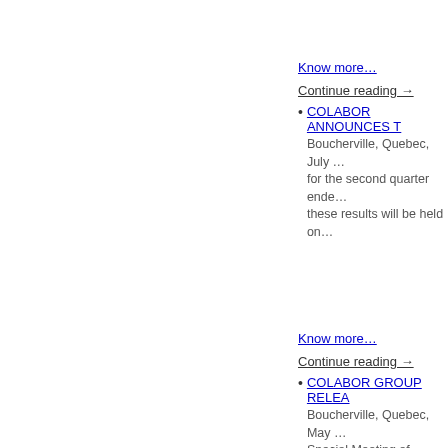Know more…
Continue reading →
COLABOR ANNOUNCES T
Boucherville, Quebec, July … for the second quarter ende… these results will be held on…
Know more…
Continue reading →
COLABOR GROUP RELEA
Boucherville, Quebec, May … Special Meeting of shareho… 62.37% of the issued and o… At this Meeting, the followin…